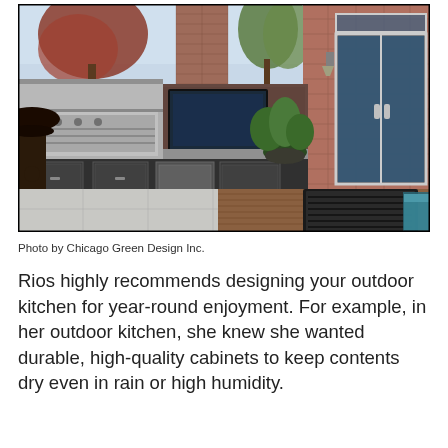[Figure (photo): Outdoor kitchen and patio area featuring a stainless steel grill with dark cabinetry, a brick fireplace with mounted TV, potted plants, a wooden deck with a dark coffee table, a partial view of a hot tub, and a modern brick house with large glass French doors. Autumn trees visible in background.]
Photo by Chicago Green Design Inc.
Rios highly recommends designing your outdoor kitchen for year-round enjoyment. For example, in her outdoor kitchen, she knew she wanted durable, high-quality cabinets to keep contents dry even in rain or high humidity.